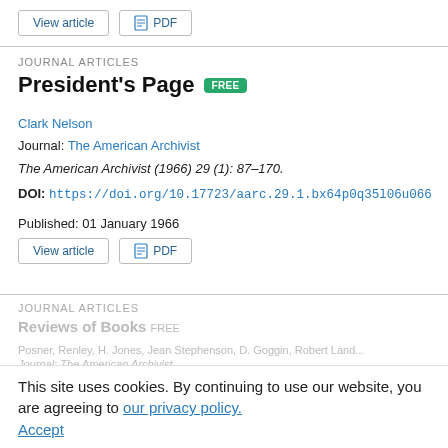View article | PDF
JOURNAL ARTICLES
President's Page FREE
Clark Nelson
Journal: The American Archivist
The American Archivist (1966) 29 (1): 87–170.
DOI: https://doi.org/10.17723/aarc.29.1.bx64p0q35l06u066
Published: 01 January 1966
View article | PDF
This site uses cookies. By continuing to use our website, you are agreeing to our privacy policy. Accept